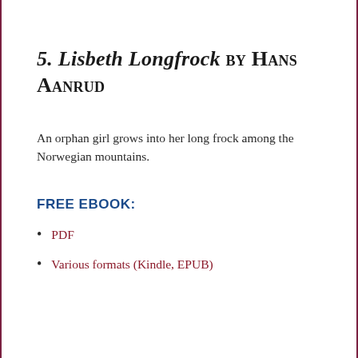5. Lisbeth Longfrock by Hans Aanrud
An orphan girl grows into her long frock among the Norwegian mountains.
FREE EBOOK:
PDF
Various formats (Kindle, EPUB)